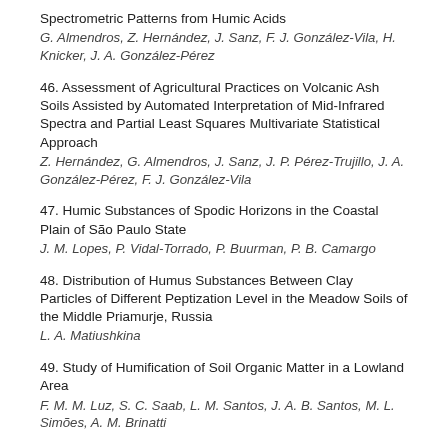Spectrometric Patterns from Humic Acids
G. Almendros, Z. Hernández, J. Sanz, F. J. González-Vila, H. Knicker, J. A. González-Pérez
46. Assessment of Agricultural Practices on Volcanic Ash Soils Assisted by Automated Interpretation of Mid-Infrared Spectra and Partial Least Squares Multivariate Statistical Approach
Z. Hernández, G. Almendros, J. Sanz, J. P. Pérez-Trujillo, J. A. González-Pérez, F. J. González-Vila
47. Humic Substances of Spodic Horizons in the Coastal Plain of São Paulo State
J. M. Lopes, P. Vidal-Torrado, P. Buurman, P. B. Camargo
48. Distribution of Humus Substances Between Clay Particles of Different Peptization Level in the Meadow Soils of the Middle Priamurje, Russia
L. A. Matiushkina
49. Study of Humification of Soil Organic Matter in a Lowland Area
F. M. M. Luz, S. C. Saab, L. M. Santos, J. A. B. Santos, M. L. Simões, A. M. Brinatti